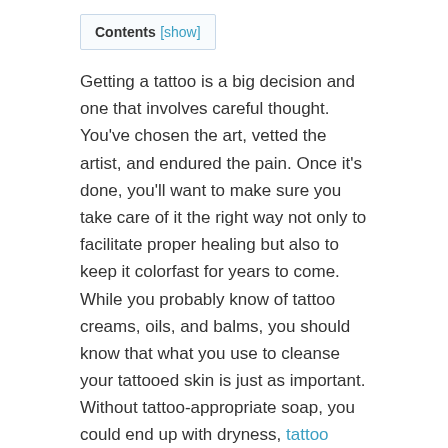Contents [show]
Getting a tattoo is a big decision and one that involves careful thought. You've chosen the art, vetted the artist, and endured the pain. Once it's done, you'll want to make sure you take care of it the right way not only to facilitate proper healing but also to keep it colorfast for years to come. While you probably know of tattoo creams, oils, and balms, you should know that what you use to cleanse your tattooed skin is just as important. Without tattoo-appropriate soap, you could end up with dryness, tattoo fading, and discoloration over time.
WHAT TO LOOK FOR IN A SOAP FOR TATTOOS